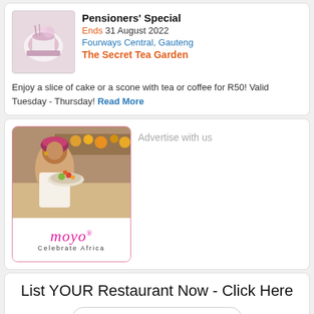Pensioners' Special
Ends 31 August 2022
Fourways Central, Gauteng
The Secret Tea Garden
Enjoy a slice of cake or a scone with tea or coffee for R50! Valid Tuesday - Thursday! Read More
[Figure (photo): Moyo restaurant advertisement with a woman carrying a plate of food, logo reading 'moyo Celebrate Africa']
Advertise with us
List YOUR Restaurant Now - Click Here
Search Me